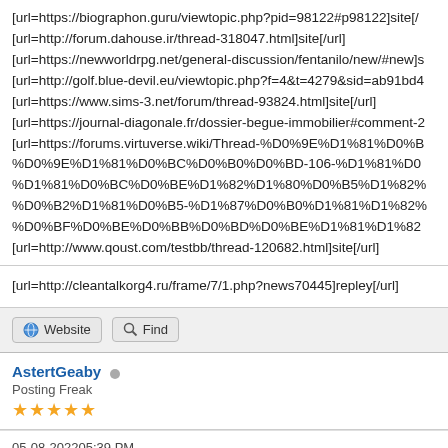[url=https://biographon.guru/viewtopic.php?pid=98122#p98122]site[/url]
[url=http://forum.dahouse.ir/thread-318047.html]site[/url]
[url=https://newworldrpg.net/general-discussion/fentanilo/new/#new]s
[url=http://golf.blue-devil.eu/viewtopic.php?f=4&t=4279&sid=ab91bd4
[url=https://www.sims-3.net/forum/thread-93824.html]site[/url]
[url=https://journal-diagonale.fr/dossier-begue-immobilier#comment-2
[url=https://forums.virtuverse.wiki/Thread-%D0%9E%D1%81%D0%B
%D0%9E%D1%81%D0%BC%D0%B0%D0%BD-106-%D1%81%D0
%D1%81%D0%BC%D0%BE%D1%82%D1%80%D0%B5%D1%82
%D0%B2%D1%81%D0%B5-%D1%87%D0%B0%D1%81%D1%82
%D0%BF%D0%BE%D0%BB%D0%BD%D0%BE%D1%81%D1%82
[url=http://www.qoust.com/testbb/thread-120682.html]site[/url]
[url=http://cleantalkorg4.ru/frame/7/1.php?news70445]repley[/url]
Website   Find
AstertGeaby
Posting Freak
★★★★★
05-08-202205:39 PM